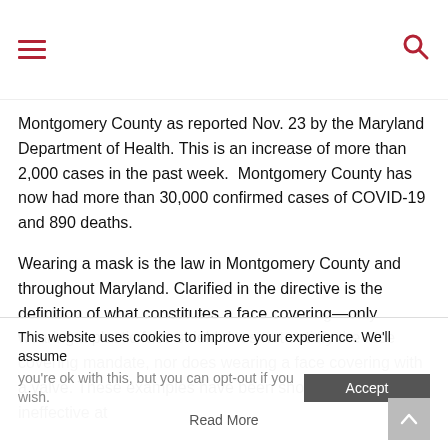[hamburger menu icon] [search icon]
Montgomery County as reported Nov. 23 by the Maryland Department of Health. This is an increase of more than 2,000 cases in the past week.  Montgomery County has now had more than 30,000 confirmed cases of COVID-19 and 890 deaths.
Wearing a mask is the law in Montgomery County and throughout Maryland. Clarified in the directive is the definition of what constitutes a face covering—only wearing a plastic face shield does not satisfy the face covering mandate, nor does wearing a face covering with a valve. These examples have been shown to be ineffective at
This website uses cookies to improve your experience. We'll assume you're ok with this, but you can opt-out if you wish.
Read More